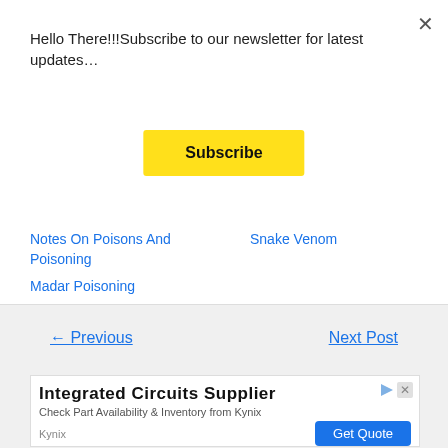Hello There!!!Subscribe to our newsletter for latest updates…
Subscribe
Notes On Poisons And Poisoning
Snake Venom
Madar Poisoning
← Previous
Next Post
[Figure (other): Advertisement banner for Integrated Circuits Supplier from Kynix with Get Quote button]